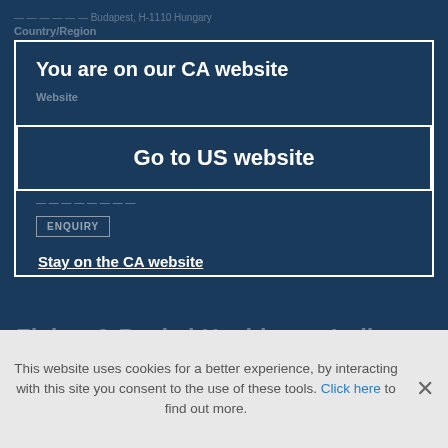You are on our CA website
Go to US website
Stay on the CA website
Fisher & Paykel Healthcare India Private Limited
Address   Site No 1, Near Mother Dairy, Major Sandeep...
This website uses cookies for a better experience, by interacting with this site you consent to the use of these tools. Click here to find out more.